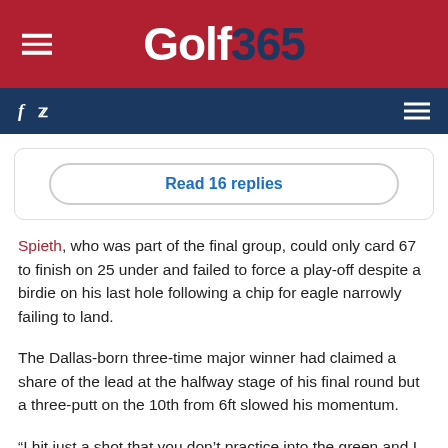Golf365
Read 16 replies
Spieth, who was part of the final group, could only card 67 to finish on 25 under and failed to force a play-off despite a birdie on his last hole following a chip for eagle narrowly failing to land.
The Dallas-born three-time major winner had claimed a share of the lead at the halfway stage of his final round but a three-putt on the 10th from 6ft slowed his momentum.
“I hit just a shot that you don’t practice into the green and I actually thought I just stuck it and I don’t know if I could have a thousand balls and hit it where I hit it,” Spieth told reporters of his eagle attempt.